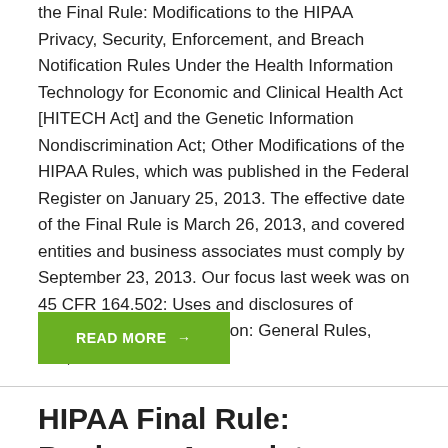the Final Rule: Modifications to the HIPAA Privacy, Security, Enforcement, and Breach Notification Rules Under the Health Information Technology for Economic and Clinical Health Act [HITECH Act] and the Genetic Information Nondiscrimination Act; Other Modifications of the HIPAA Rules, which was published in the Federal Register on January 25, 2013. The effective date of the Final Rule is March 26, 2013, and covered entities and business associates must comply by September 23, 2013. Our focus last week was on 45 CFR 164.502: Uses and disclosures of protected health information: General Rules, and,…
READ MORE →
HIPAA Final Rule: Business Associate Notification Timing…